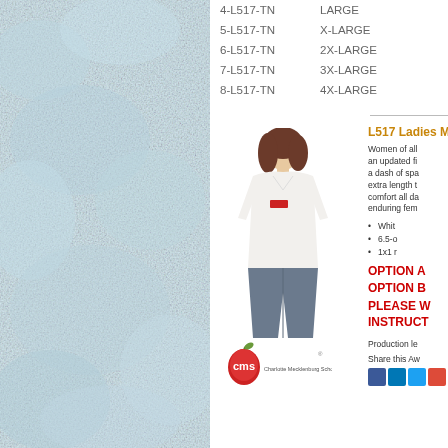[Figure (photo): Light blue/white mottled texture background on left panel]
4-L517-TN    LARGE
5-L517-TN    X-LARGE
6-L517-TN    2X-LARGE
7-L517-TN    3X-LARGE
8-L517-TN    4X-LARGE
[Figure (photo): Woman wearing white 3/4 sleeve shirt with small logo on chest, grey pants]
[Figure (logo): CMS logo - Charlotte Mecklenburg Schools red apple with cms text]
L517 Ladies M
Women of all an updated fi a dash of spa extra length t comfort all da enduring fem
Whit
6.5-o
1x1 r
OPTION A
OPTION B
PLEASE W INSTRUCT
Production le
Share this Aw